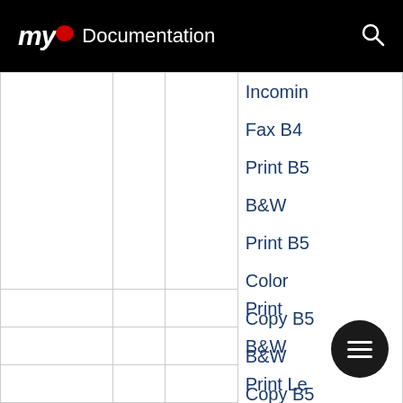myQ Documentation
|  |  |  | Incoming Fax B4 |
|  |  |  | Print B5 B&W |
|  |  |  | Print B5 Color |
|  |  |  | Copy B5 B&W |
|  |  |  | Copy B5 Color |
|  |  |  | Incoming Fax B5 |
|  |  |  | Print B&W |
|  |  |  | Print Le |